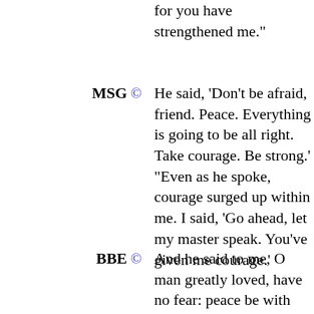for you have strengthened me."
MSG © He said, 'Don't be afraid, friend. Peace. Everything is going to be all right. Take courage. Be strong.' "Even as he spoke, courage surged up within me. I said, 'Go ahead, let my master speak. You've given me courage.'
BBE © And he said to me, O man greatly loved, have no fear: peace be with you, be strong